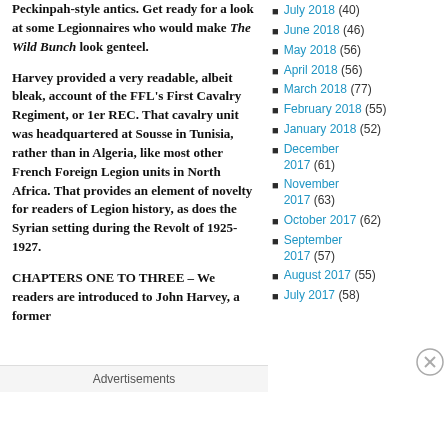Peckinpah-style antics. Get ready for a look at some Legionnaires who would make The Wild Bunch look genteel.
Harvey provided a very readable, albeit bleak, account of the FFL's First Cavalry Regiment, or 1er REC. That cavalry unit was headquartered at Sousse in Tunisia, rather than in Algeria, like most other French Foreign Legion units in North Africa. That provides an element of novelty for readers of Legion history, as does the Syrian setting during the Revolt of 1925-1927.
CHAPTERS ONE TO THREE – We readers are introduced to John Harvey, a former
July 2018 (40)
June 2018 (46)
May 2018 (56)
April 2018 (56)
March 2018 (77)
February 2018 (55)
January 2018 (52)
December 2017 (61)
November 2017 (63)
October 2017 (62)
September 2017 (57)
August 2017 (55)
July 2017 (58)
Advertisements